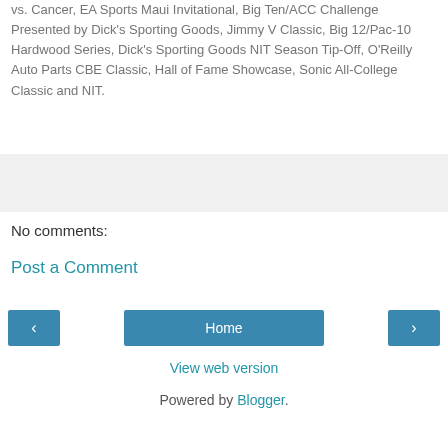vs. Cancer, EA Sports Maui Invitational, Big Ten/ACC Challenge Presented by Dick's Sporting Goods, Jimmy V Classic, Big 12/Pac-10 Hardwood Series, Dick's Sporting Goods NIT Season Tip-Off, O'Reilly Auto Parts CBE Classic, Hall of Fame Showcase, Sonic All-College Classic and NIT.
[Figure (other): Gray placeholder box]
No comments:
Post a Comment
Home
View web version
Powered by Blogger.